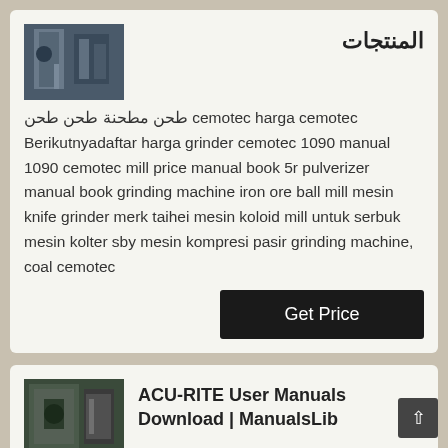[Figure (photo): Industrial machinery/equipment photo in dark blue tones]
المنتجات
طحن مطحنة طحن طحن cemotec harga cemotec Berikutnyadaftar harga grinder cemotec 1090 manual 1090 cemotec mill price manual book 5r pulverizer manual book grinding machine iron ore ball mill mesin knife grinder merk taihei mesin koloid mill untuk serbuk mesin kolter sby mesin kompresi pasir grinding machine, coal cemotec
Get Price
[Figure (photo): Industrial equipment/machinery interior photo]
ACU-RITE User Manuals Download | ManualsLib
View & download of more than 160 ACU-RITE PDF user manuals, service manuals, operating guides. Weather Station,